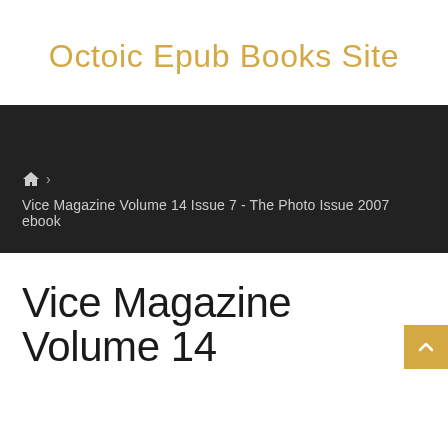Octoic Epub Books Site
🏠 › Vice Magazine Volume 14 Issue 7 - The Photo Issue 2007 ebook
Vice Magazine Volume 14